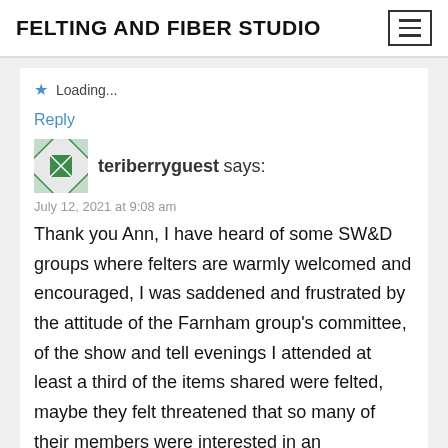FELTING AND FIBER STUDIO
Loading...
Reply
teriberryguest says:
July 12, 2021 at 9:08 am
Thank you Ann, I have heard of some SW&D groups where felters are warmly welcomed and encouraged, I was saddened and frustrated by the attitude of the Farnham group's committee, of the show and tell evenings I attended at least a third of the items shared were felted, maybe they felt threatened that so many of their members were interested in an